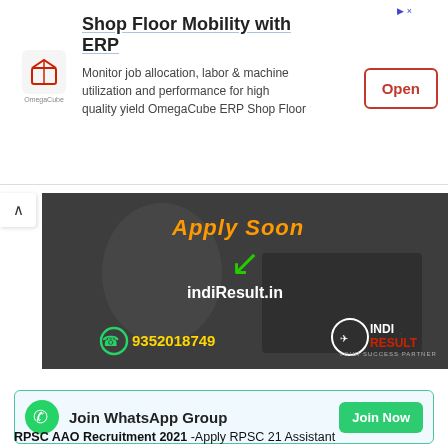[Figure (infographic): Advertisement banner for OmegaCube ERP Shop Floor Mobility with logo, description text, and Open button]
[Figure (infographic): IndiResult.in promotional banner with 'Apply Soon' text, green arrow, website URL, phone number 9352018749, and IndiResult logo]
Join WhatsApp Group
Join Telegram Group
RPSC AAO Recruitment 2021 -Apply RPSC 21 Assistant